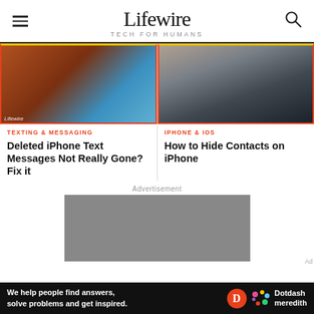Lifewire TECH FOR HUMANS
[Figure (photo): Two article card images side by side: left shows hands holding a black smartphone against a colorful background with Lifewire watermark; right shows a person lying on dark fabric using a smartphone]
TEXTING & MESSAGING
Deleted iPhone Text Messages Not Really Gone? Fix it
IPHONE & IOS
How to Hide Contacts on iPhone
Advertisement
[Figure (other): Grey advertisement placeholder block]
We help people find answers, solve problems and get inspired. Dotdash meredith